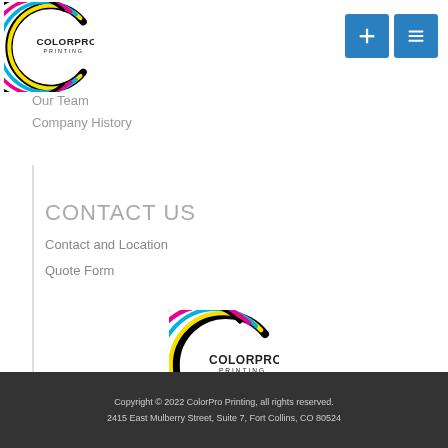[Figure (logo): ColorPro Printing logo - letter C with rainbow colored stripes, top-left]
[Figure (other): Two blue square buttons with plus and list icons]
Our Team
Company History
CONTACT US
Contact and Location
Quote Form
[Figure (logo): ColorPro Printing logo - letter C with rainbow colored stripes, center]
Copyright © 2022 ColorPro Printing, all rights reserved.
2415 East Mulberry Street, Suite 7,  Fort Collins, CO 80524